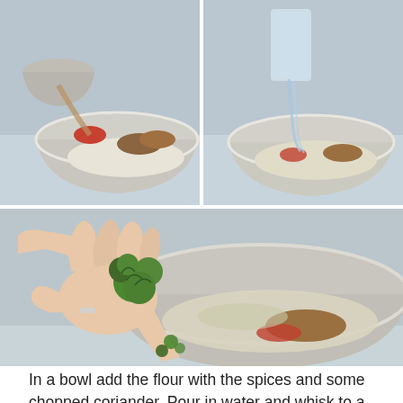[Figure (photo): Top-left photo: spices (red chili flakes, brown cumin/spice powders) being poured from a small bowl into a large stainless steel mixing bowl containing flour.]
[Figure (photo): Top-right photo: water being poured from a measuring cup into the large stainless steel mixing bowl containing flour and spices.]
[Figure (photo): Large center photo: a hand holding a bunch of fresh chopped coriander (cilantro) above a large stainless steel mixing bowl containing flour, spices, and liquid batter.]
In a bowl add the flour with the spices and some chopped coriander. Pour in water and whisk to a smooth batter.